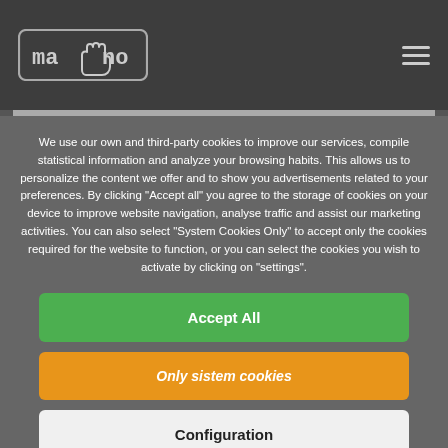mano (logo with hand icon) — navigation header
We use our own and third-party cookies to improve our services, compile statistical information and analyze your browsing habits. This allows us to personalize the content we offer and to show you advertisements related to your preferences. By clicking "Accept all" you agree to the storage of cookies on your device to improve website navigation, analyse traffic and assist our marketing activities. You can also select "System Cookies Only" to accept only the cookies required for the website to function, or you can select the cookies you wish to activate by clicking on "settings".
Accept All
Only sistem cookies
Configuration